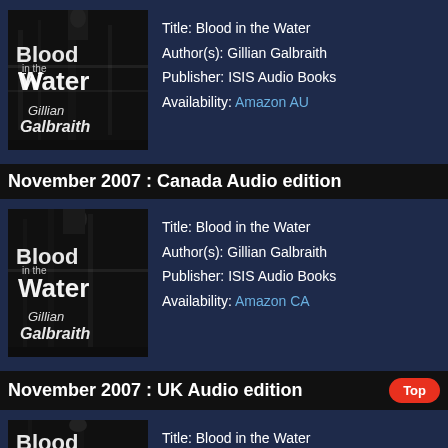[Figure (photo): Book cover of 'Blood in the Water' by Gillian Galbraith, black and white image]
Title: Blood in the Water
Author(s): Gillian Galbraith
Publisher: ISIS Audio Books
Availability: Amazon AU
November 2007 : Canada Audio edition
[Figure (photo): Book cover of 'Blood in the Water' by Gillian Galbraith, black and white image]
Title: Blood in the Water
Author(s): Gillian Galbraith
Publisher: ISIS Audio Books
Availability: Amazon CA
November 2007 : UK Audio edition
[Figure (photo): Partial book cover of 'Blood in the Water' by Gillian Galbraith, black and white image]
Title: Blood in the Water